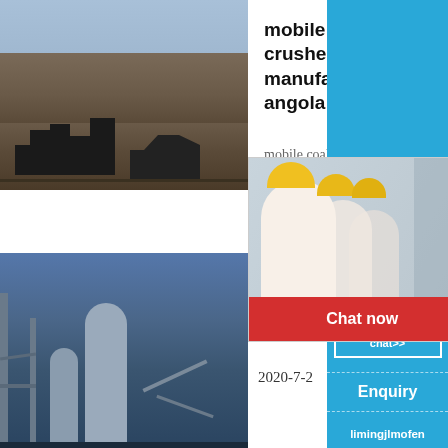[Figure (photo): Quarry/mining site with heavy machinery and conveyor belts on rocky terrain]
mobile al ne crusher manufacturer in angola
mobile coal cone crusher …
[Figure (photo): Live Chat widget showing workers in yellow hard hats with 'LIVE CHAT' heading and 'Click for a Free Consultation' text, plus Chat now and Chat later buttons]
[Figure (photo): Industrial plant/factory with silos and scaffolding structure]
Mobile Impact Hire In
2020-7-2
[Figure (photo): Right sidebar showing crusher machine image with 'hour online' text, 'Click me to chat>>' button, 'Enquiry' section, and 'limingjlmofen' text on blue background]